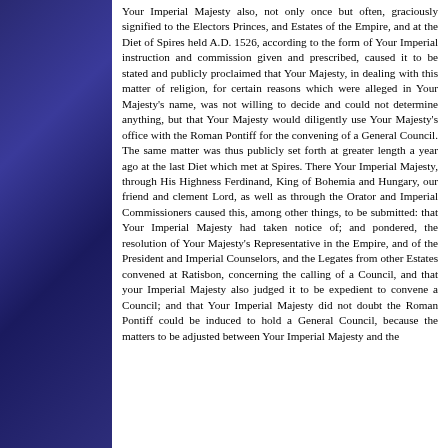Your Imperial Majesty also, not only once but often, graciously signified to the Electors Princes, and Estates of the Empire, and at the Diet of Spires held A.D. 1526, according to the form of Your Imperial instruction and commission given and prescribed, caused it to be stated and publicly proclaimed that Your Majesty, in dealing with this matter of religion, for certain reasons which were alleged in Your Majesty's name, was not willing to decide and could not determine anything, but that Your Majesty would diligently use Your Majesty's office with the Roman Pontiff for the convening of a General Council. The same matter was thus publicly set forth at greater length a year ago at the last Diet which met at Spires. There Your Imperial Majesty, through His Highness Ferdinand, King of Bohemia and Hungary, our friend and clement Lord, as well as through the Orator and Imperial Commissioners caused this, among other things, to be submitted: that Your Imperial Majesty had taken notice of; and pondered, the resolution of Your Majesty's Representative in the Empire, and of the President and Imperial Counselors, and the Legates from other Estates convened at Ratisbon, concerning the calling of a Council, and that your Imperial Majesty also judged it to be expedient to convene a Council; and that Your Imperial Majesty did not doubt the Roman Pontiff could be induced to hold a General Council, because the matters to be adjusted between Your Imperial Majesty and the